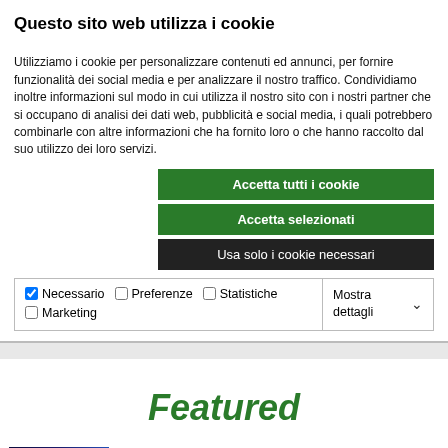Questo sito web utilizza i cookie
Utilizziamo i cookie per personalizzare contenuti ed annunci, per fornire funzionalità dei social media e per analizzare il nostro traffico. Condividiamo inoltre informazioni sul modo in cui utilizza il nostro sito con i nostri partner che si occupano di analisi dei dati web, pubblicità e social media, i quali potrebbero combinarle con altre informazioni che ha fornito loro o che hanno raccolto dal suo utilizzo dei loro servizi.
Accetta tutti i cookie
Accetta selezionati
Usa solo i cookie necessari
| ✓ Necessario | ☐ Preferenze | ☐ Statistiche | Mostra dettagli ∨ |
| ☐ Marketing |  |  |  |
Featured
[Figure (photo): Small thumbnail image with dark blue/space background]